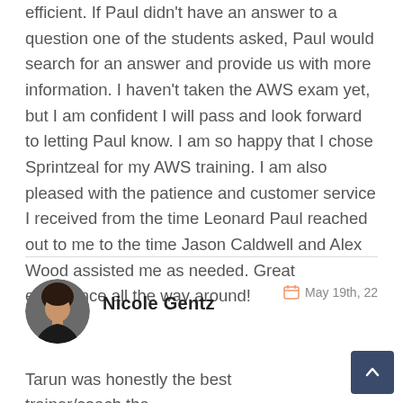efficient. If Paul didn't have an answer to a question one of the students asked, Paul would search for an answer and provide us with more information. I haven't taken the AWS exam yet, but I am confident I will pass and look forward to letting Paul know. I am so happy that I chose Sprintzeal for my AWS training. I am also pleased with the patience and customer service I received from the time Leonard Paul reached out to me to the time Jason Caldwell and Alex Wood assisted me as needed. Great experience all the way around!
[Figure (photo): Circular avatar photo of Nicole Gentz, a woman with dark hair wearing a dark jacket]
Nicole Gentz
May 19th, 22
Tarun was honestly the best trainer/coach tha